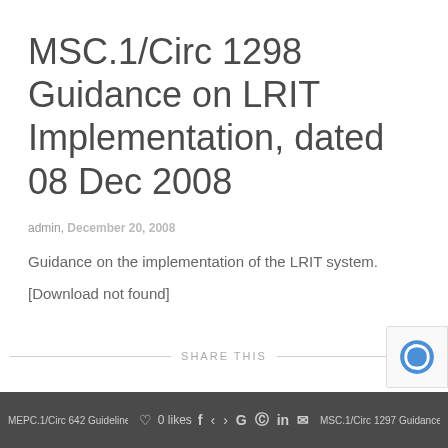MSC.1/Circ 1298 Guidance on LRIT Implementation, dated 08 Dec 2008
admin, December 20, 2008
Guidance on the implementation of the LRIT system.
[Download not found]
SHARE THIS
MEPC.1/Circ 642 Guidelines for l... 0 likes MSC.1/Circ 1297 Guidance to LRI...